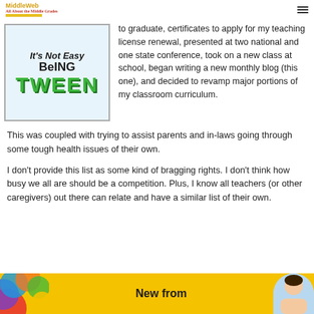MiddleWeb
[Figure (illustration): Book cover: 'It's Not Easy Being Tween' with large green bold TWEEN text on light blue background]
to graduate, certificates to apply for my teaching license renewal, presented at two national and one state conference, took on a new class at school, began writing a new monthly blog (this one), and decided to revamp major portions of my classroom curriculum.
This was coupled with trying to assist parents and in-laws going through some tough health issues of their own.
I don't provide this list as some kind of bragging rights. I don't think how busy we all are should be a competition. Plus, I know all teachers (or other caregivers) out there can relate and have a similar list of their own.
[Figure (illustration): Yellow banner at bottom reading 'New from' with colorful swirls on left and a person's head on the right]